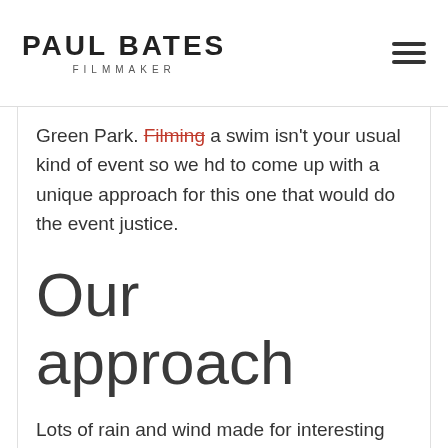PAUL BATES FILMMAKER
Green Park. Filming a swim isn't your usual kind of event so we hd to come up with a unique approach for this one that would do the event justice.
Our approach
Lots of rain and wind made for interesting conditions to shoot in. Certainly not what you would expect for August, even for here in the UK.